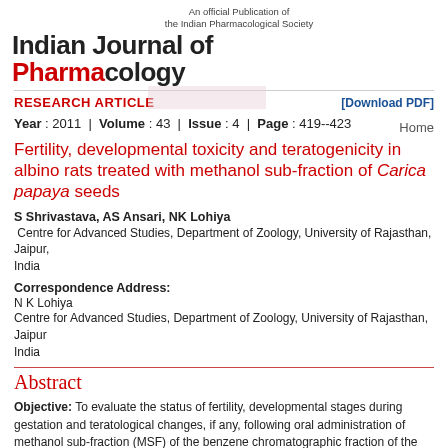An official Publication of the Indian Pharmacological Society
Indian Journal of Pharmacology
Home
RESEARCH ARTICLE
[Download PDF]
Year : 2011 | Volume : 43 | Issue : 4 | Page : 419--423
Fertility, developmental toxicity and teratogenicity in albino rats treated with methanol sub-fraction of Carica papaya seeds
S Shrivastava, AS Ansari, NK Lohiya
Centre for Advanced Studies, Department of Zoology, University of Rajasthan, Jaipur, India
Correspondence Address:
N K Lohiya
Centre for Advanced Studies, Department of Zoology, University of Rajasthan, Jaipur India
Abstract
Objective: To evaluate the status of fertility, developmental stages during gestation and teratological changes, if any, following oral administration of methanol sub-fraction (MSF) of the benzene chromatographic fraction of the